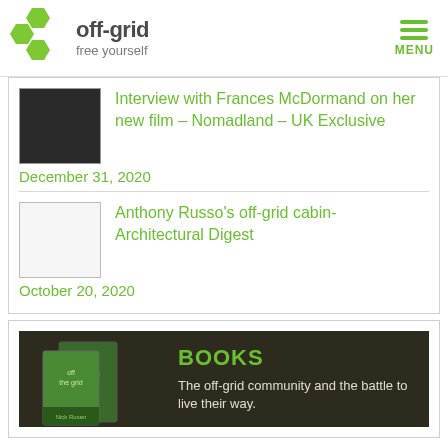[Figure (logo): off-grid free yourself logo with green hexagon shapes]
Interview with Frances McDormand on her new film – Nomadland – UK Exclusive
December 31, 2020
Anthony Russo's off-grid cabin- Architectural Digest
October 20, 2020
[Figure (illustration): Books banner with off-grid book covers and text: BOOKS - The off-grid community and the battle to live their way.]